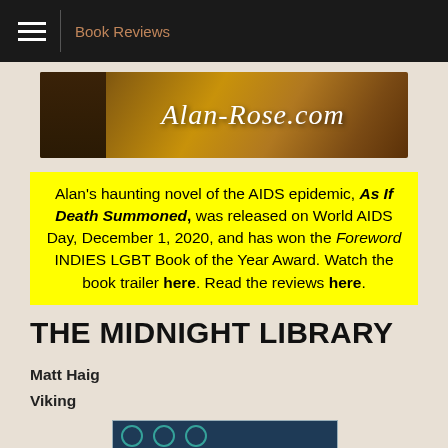Book Reviews
[Figure (illustration): Alan-Rose.com website banner with photo of a man on the left and cursive white text reading Alan-Rose.com on a warm brown/gold background with books]
Alan's haunting novel of the AIDS epidemic, As If Death Summoned, was released on World AIDS Day, December 1, 2020, and has won the Foreword INDIES LGBT Book of the Year Award. Watch the book trailer here. Read the reviews here.
THE MIDNIGHT LIBRARY
Matt Haig
Viking
[Figure (photo): Partial book cover of The Midnight Library, showing dark teal/blue background with circular design elements]